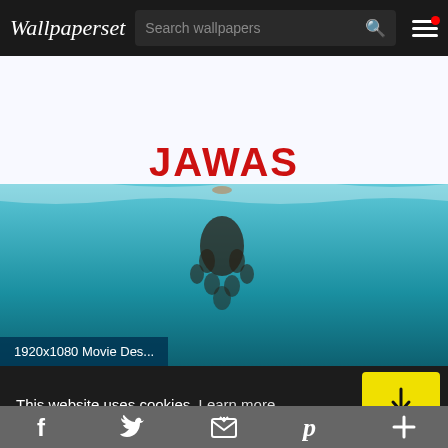Wallpaperset  Search wallpapers
[Figure (screenshot): JAWAS movie poster wallpaper showing underwater scene with swimmer at surface and shark silhouetted below, red bold JAWAS text at top]
1920x1080 Movie Des...
This website uses cookies. Learn more
Facebook Twitter Email Pinterest Plus